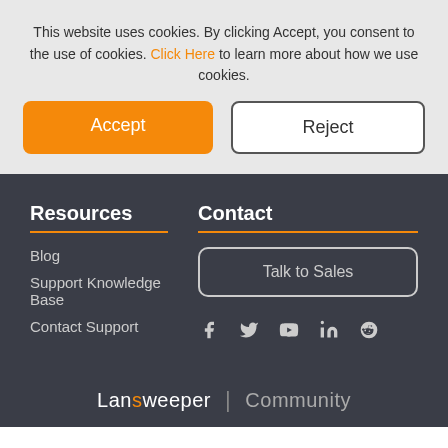This website uses cookies. By clicking Accept, you consent to the use of cookies. Click Here to learn more about how we use cookies.
Accept
Reject
Resources
Contact
Blog
Support Knowledge Base
Contact Support
Talk to Sales
Lansweeper | Community